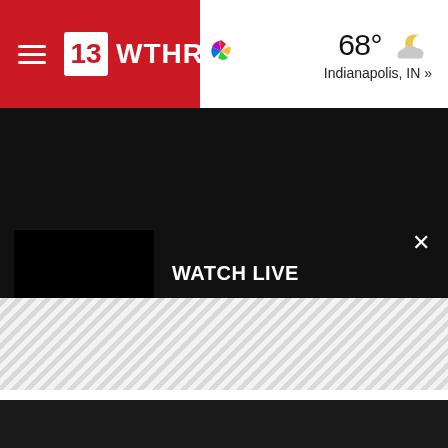13 WTHR NBC - 68° Indianapolis, IN »
WATCH LIVE
Indiana farmers' plea to US senators: Pass immigration reform to stabilize farm costs, lower food pr...
[Figure (screenshot): Hatched/striped loading placeholder area below the Watch Live bar]
[Figure (screenshot): Dark black area at the bottom of the page]